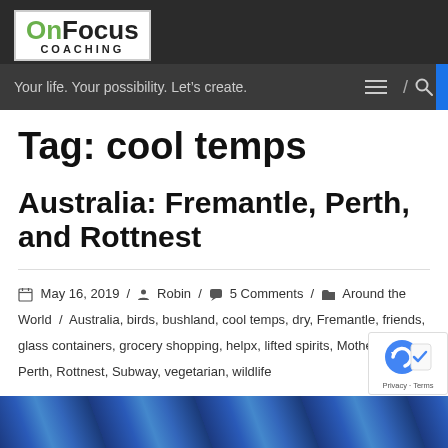[Figure (logo): OnFocus Coaching logo — white box with green 'On' and black 'Focus' in large bold text, 'COACHING' in small caps below]
Your life. Your possibility. Let's create.
Tag: cool temps
Australia: Fremantle, Perth, and Rottnest
May 16, 2019 / Robin / 5 Comments / Around the World / Australia, birds, bushland, cool temps, dry, Fremantle, friends, glass containers, grocery shopping, helpx, lifted spirits, Mother's day, Perth, Rottnest, Subway, vegetarian, wildlife
[Figure (photo): Partial image strip at bottom of page with blue/purple tones]